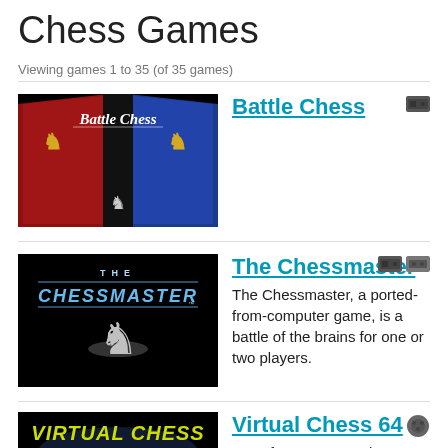Chess Games
Viewing games 1 to 35 (of 35 games)
[Figure (screenshot): Battle Chess game thumbnail — red and blue banner background with knight figure, title 'Battle Chess']
Battle Chess
[Figure (screenshot): The Chessmaster game thumbnail — black background with white chess knight piece, title 'THE CHESSMASTER']
The Chessmaster
The Chessmaster, a ported-from-computer game, is a battle of the brains for one or two players.
[Figure (screenshot): Virtual Chess 64 game thumbnail — black background with yellow/green stylized title text 'Virtual Chess 64']
Virtual Chess 64
Transform your N64 into